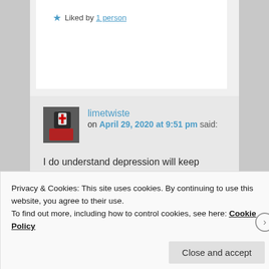★ Liked by 1 person
[Figure (photo): Small avatar photo of user limetwiste, showing a red and white object]
limetwiste on April 29, 2020 at 9:51 pm said:
I do understand depression will keep coming back. It just catches me off guard all the time. I don't have my 'depression first aid kit' sorted. I am learning to ride it
Privacy & Cookies: This site uses cookies. By continuing to use this website, you agree to their use.
To find out more, including how to control cookies, see here: Cookie Policy
Close and accept